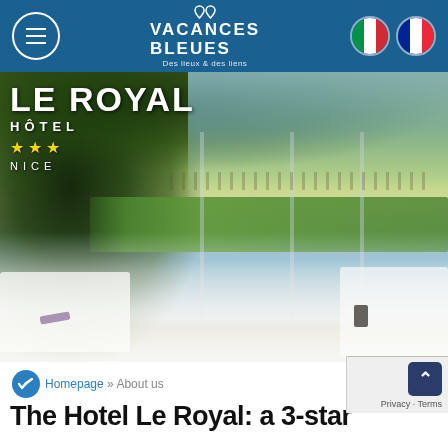Vacances Bleues - Des lieux & des liens
[Figure (photo): Hero photo of Le Royal Hotel terrace restaurant with white-cloth tables and chairs in foreground, lush tree canopy overhead, and the Nice seafront promenade with palm trees and beach visible in background through glass panels. Bright sunny Mediterranean scene.]
LE ROYAL
HÔTEL
★★★
NICE
Homepage » About us
The Hotel Le Royal: a 3-star